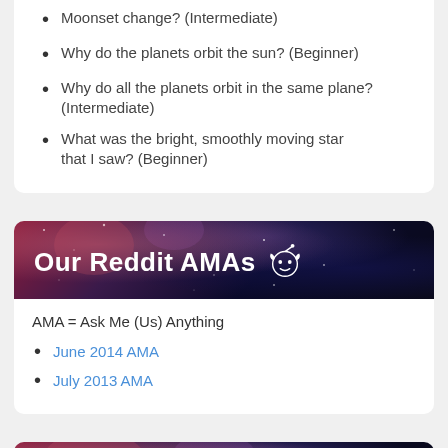Moonset change? (Intermediate)
Why do the planets orbit the sun? (Beginner)
Why do all the planets orbit in the same plane? (Intermediate)
What was the bright, smoothly moving star that I saw? (Beginner)
[Figure (illustration): Banner with space/galaxy background image with text 'Our Reddit AMAs' and Reddit alien logo icon in white]
AMA = Ask Me (Us) Anything
June 2014 AMA
July 2013 AMA
[Figure (illustration): Partial banner with space/galaxy background at bottom of page, cut off]